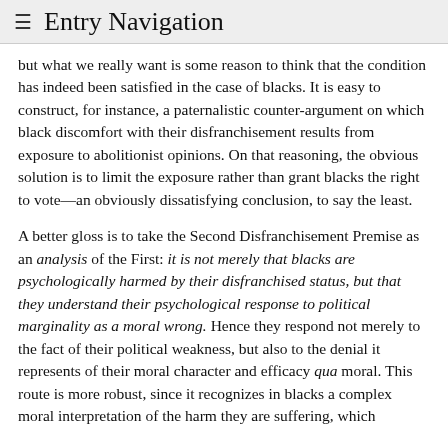≡ Entry Navigation
but what we really want is some reason to think that the condition has indeed been satisfied in the case of blacks. It is easy to construct, for instance, a paternalistic counter-argument on which black discomfort with their disfranchisement results from exposure to abolitionist opinions. On that reasoning, the obvious solution is to limit the exposure rather than grant blacks the right to vote—an obviously dissatisfying conclusion, to say the least.
A better gloss is to take the Second Disfranchisement Premise as an analysis of the First: it is not merely that blacks are psychologically harmed by their disfranchised status, but that they understand their psychological response to political marginality as a moral wrong. Hence they respond not merely to the fact of their political weakness, but also to the denial it represents of their moral character and efficacy qua moral. This route is more robust, since it recognizes in blacks a complex moral interpretation of the harm they are suffering, which [continues...]